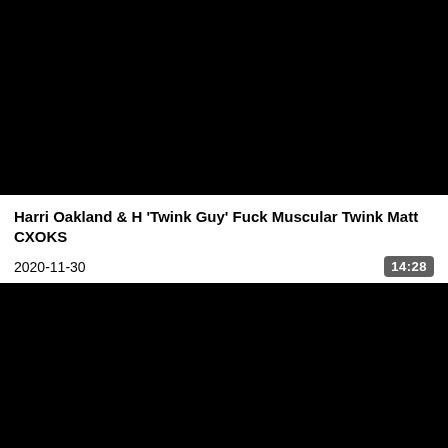[Figure (screenshot): Black video thumbnail (top)]
Harri Oakland & H 'Twink Guy' Fuck Muscular Twink Matt CXOKS
2020-11-30
14:28
[Figure (screenshot): Black video thumbnail (bottom)]